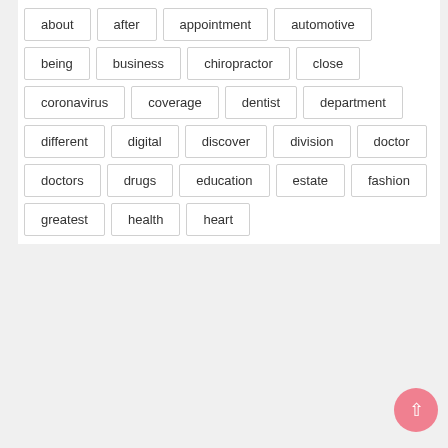about
after
appointment
automotive
being
business
chiropractor
close
coronavirus
coverage
dentist
department
different
digital
discover
division
doctor
doctors
drugs
education
estate
fashion
greatest
health
heart